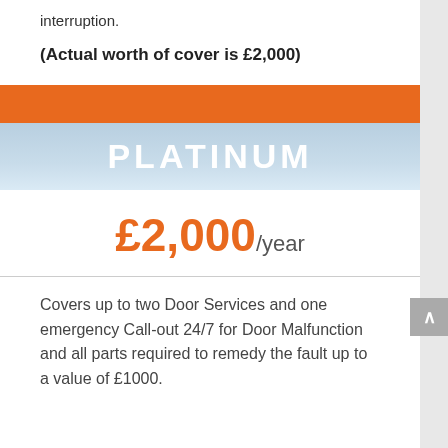interruption.
(Actual worth of cover is £2,000)
PLATINUM
£2,000/year
Covers up to two Door Services and one emergency Call-out 24/7 for Door Malfunction and all parts required to remedy the fault up to a value of £1000.